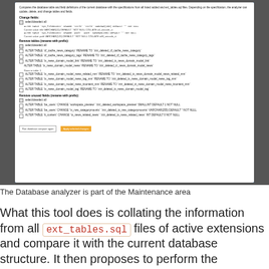[Figure (screenshot): Screenshot of the TYPO3 Database Analyzer tool showing options to Change fields, Remove tables (rename with prefix), and Remove unused fields (rename with prefix), with SQL ALTER TABLE statements and checkboxes, plus 'Run database compare again' and 'Apply selected changes' buttons.]
The Database analyzer is part of the Maintenance area
What this tool does is collating the information from all ext_tables.sql files of active extensions and compare it with the current database structure. It then proposes to perform the necessary changes, grouped by type: creating new tables, adding new fields to existing tables, altering